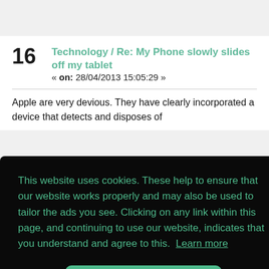Technology / Re: My Phone slowly slides off my tablet « on: 28/04/2013 15:05:29 »
Apple are very devious. They have clearly incorporated a device that detects and disposes of Samsung phones. :)
This website uses cookies. These help to ensure that our website works properly and may also be used to tailor the ads you see. Clicking on any link within this page, and continuing to use our website, indicates that you understand and agree to this.  Learn more
Got it!
the media. How can people claim that their washing